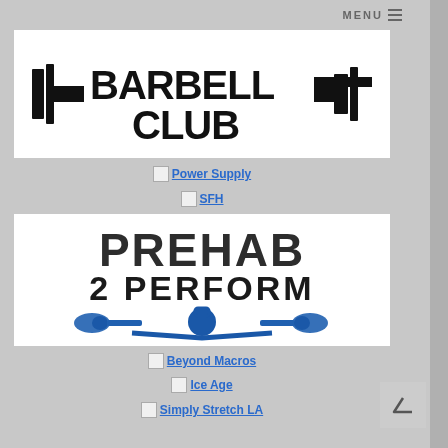MENU ≡
[Figure (logo): Barbell Club logo — large bold text 'BARBELL CLUB' with barbell weight plate graphic in black and white]
[Figure (logo): Power Supply broken image link]
[Figure (logo): SFH broken image link]
[Figure (logo): Prehab 2 Perform logo — dark gray and blue text with barbell/kettlebell graphic]
[Figure (logo): Beyond Macros broken image link]
[Figure (logo): Ice Age broken image link]
[Figure (logo): Simply Stretch LA broken image link]